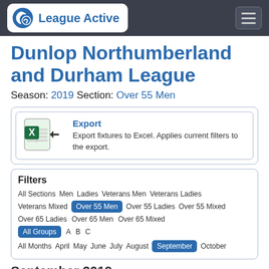League Active
Dunlop Northumberland and Durham League
Season: 2019 Section: Over 55 Men
Export — Export fixtures to Excel. Applies current filters to the export.
Filters
All Sections  Men  Ladies  Veterans Men  Veterans Ladies  Veterans Mixed  Over 55 Men  Over 55 Ladies  Over 55 Mixed  Over 65 Ladies  Over 65 Men  Over 65 Mixed  All Groups  A  B  C  All Months  April  May  June  July  August  September  October
September 2019